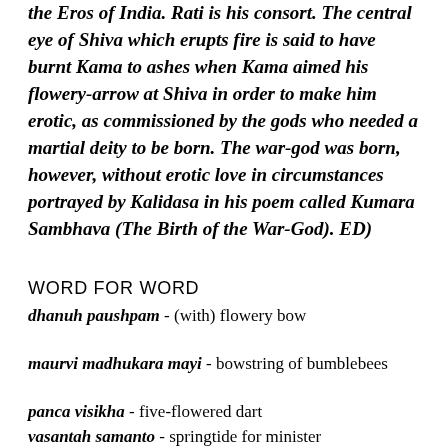the Eros of India. Rati is his consort. The central eye of Shiva which erupts fire is said to have burnt Kama to ashes when Kama aimed his flowery-arrow at Shiva in order to make him erotic, as commissioned by the gods who needed a martial deity to be born. The war-god was born, however, without erotic love in circumstances portrayed by Kalidasa in his poem called Kumara Sambhava (The Birth of the War-God). ED)
WORD FOR WORD
dhanuh paushpam - (with) flowery bow
maurvi madhukara mayi - bowstring of bumblebees
panca visikha - five-flowered dart
vasantah samanto - springtide for minister